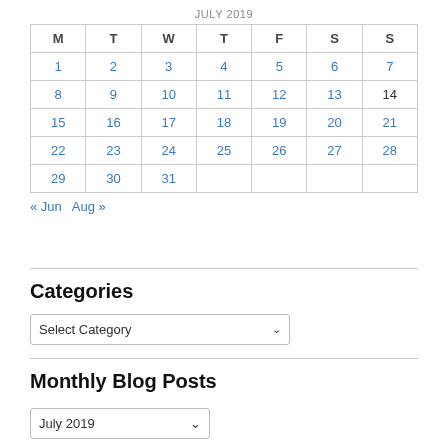| M | T | W | T | F | S | S |
| --- | --- | --- | --- | --- | --- | --- |
| 1 | 2 | 3 | 4 | 5 | 6 | 7 |
| 8 | 9 | 10 | 11 | 12 | 13 | 14 |
| 15 | 16 | 17 | 18 | 19 | 20 | 21 |
| 22 | 23 | 24 | 25 | 26 | 27 | 28 |
| 29 | 30 | 31 |  |  |  |  |
« Jun  Aug »
Categories
Select Category
Monthly Blog Posts
July 2019